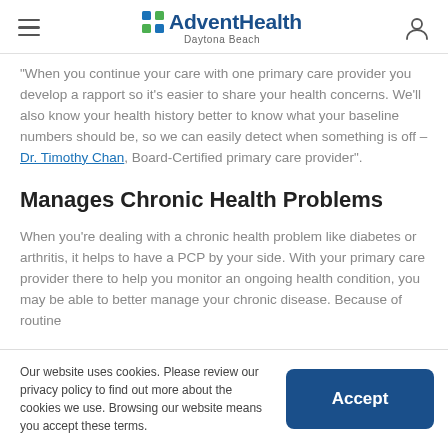AdventHealth Daytona Beach
"When you continue your care with one primary care provider you develop a rapport so it's easier to share your health concerns. We'll also know your health history better to know what your baseline numbers should be, so we can easily detect when something is off – Dr. Timothy Chan, Board-Certified primary care provider".
Manages Chronic Health Problems
When you're dealing with a chronic health problem like diabetes or arthritis, it helps to have a PCP by your side. With your primary care provider there to help you monitor an ongoing health condition, you may be able to better manage your chronic disease. Because of routine
Our website uses cookies. Please review our privacy policy to find out more about the cookies we use. Browsing our website means you accept these terms.